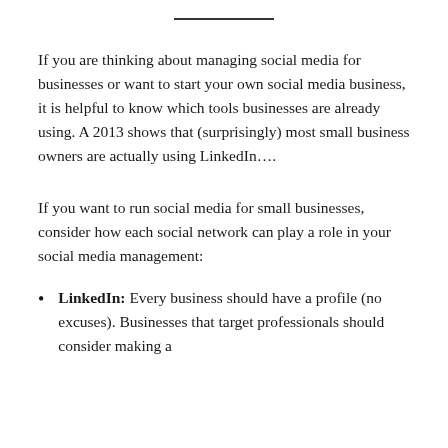If you are thinking about managing social media for businesses or want to start your own social media business, it is helpful to know which tools businesses are already using. A 2013 shows that (surprisingly) most small business owners are actually using LinkedIn….
If you want to run social media for small businesses, consider how each social network can play a role in your social media management:
LinkedIn: Every business should have a profile (no excuses). Businesses that target professionals should consider making a